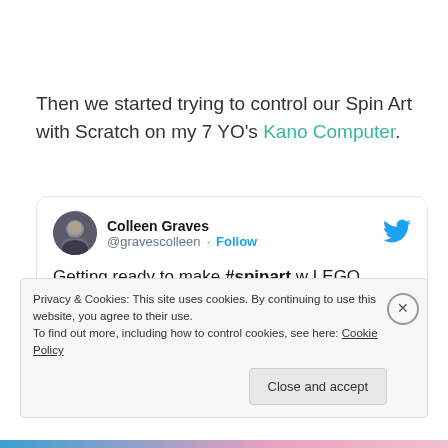Then we started trying to control our Spin Art with Scratch on my 7 YO's Kano Computer.
[Figure (screenshot): Embedded tweet from @gravescolleen (Colleen Graves) reading: Getting ready to make #spinart w LEGO Wedo! Thx for inspiration Josh Burker and Tinkering … ift.tt/1skhMA7]
Privacy & Cookies: This site uses cookies. By continuing to use this website, you agree to their use. To find out more, including how to control cookies, see here: Cookie Policy
Close and accept